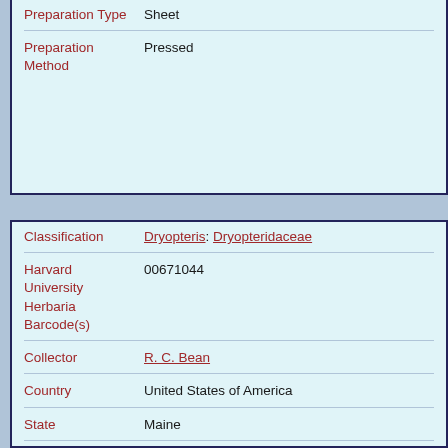| Field | Value |
| --- | --- |
| Preparation Type | Sheet |
| Preparation Method | Pressed |
| Field | Value |
| --- | --- |
| Classification | Dryopteris: Dryopteridaceae |
| Harvard University Herbaria Barcode(s) | 00671044 |
| Collector | R. C. Bean |
| Country | United States of America |
| State | Maine |
| Geography | North America: North America (CA, US, MX) (Region): United States of America: Maine: Oxford County: Sumner |
| Locality | Sumner |
| Date Collected | 1942-07-22 [July 22 1942] |
| Project | New England Vascular Plants TCN |
| GUID | http://purl.oclc.org/net/edu.harvard.huh/guid/uuid/a99...29d0-11e5-b5e0-001ec9fd629b |